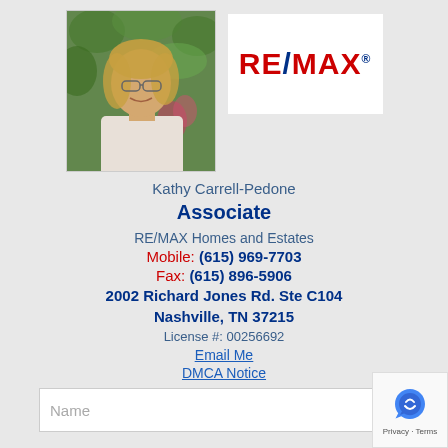[Figure (photo): Headshot photo of Kathy Carrell-Pedone, a blonde woman in a white off-shoulder top, outdoors with green foliage background]
[Figure (logo): RE/MAX logo in red and blue on white background]
Kathy Carrell-Pedone
Associate
RE/MAX Homes and Estates
Mobile: (615) 969-7703
Fax: (615) 896-5906
2002 Richard Jones Rd. Ste C104
Nashville, TN 37215
License #: 00256692
Email Me
DMCA Notice